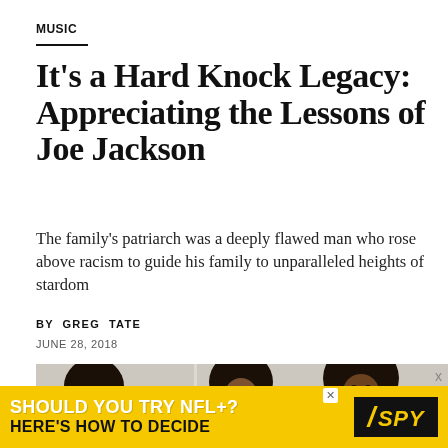MUSIC
It's a Hard Knock Legacy: Appreciating the Lessons of Joe Jackson
The family's patriarch was a deeply flawed man who rose above racism to guide his family to unparalleled heights of stardom
BY GREG TATE
JUNE 28, 2018
[Figure (photo): Photo of three young Black men/boys with afro hairstyles, likely members of the Jackson family, posed together in what appears to be an indoor setting]
[Figure (infographic): Advertisement banner: 'SHOULD YOU TRY NFL+? HERE'S HOW TO DECIDE' with SPY logo on yellow background]